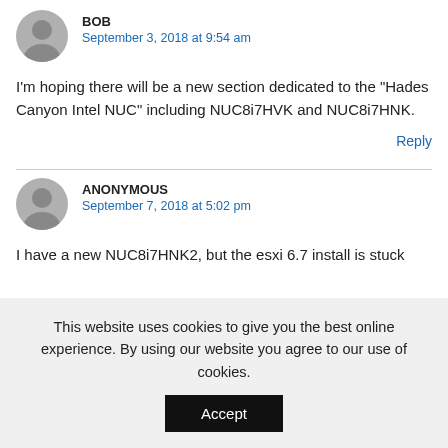BOB
September 3, 2018 at 9:54 am
I'm hoping there will be a new section dedicated to the "Hades Canyon Intel NUC" including NUC8i7HVK and NUC8i7HNK.
Reply
ANONYMOUS
September 7, 2018 at 5:02 pm
I have a new NUC8i7HNK2, but the esxi 6.7 install is stuck
This website uses cookies to give you the best online experience. By using our website you agree to our use of cookies.